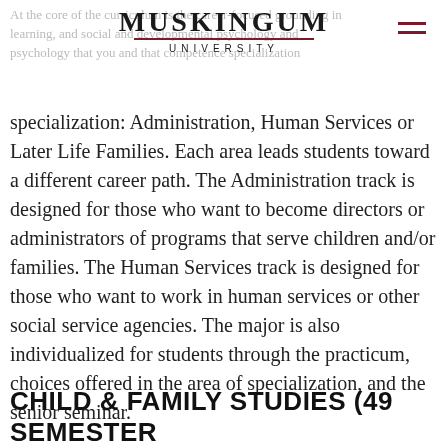Muskingum University
specialization: Administration, Human Services or Later Life Families. Each area leads students toward a different career path. The Administration track is designed for those who want to become directors or administrators of programs that serve children and/or families. The Human Services track is designed for those who want to work in human services or other social service agencies. The major is also individualized for students through the practicum, choices offered in the area of specialization, and the senior seminar.
CHILD & FAMILY STUDIES (49 SEMESTER